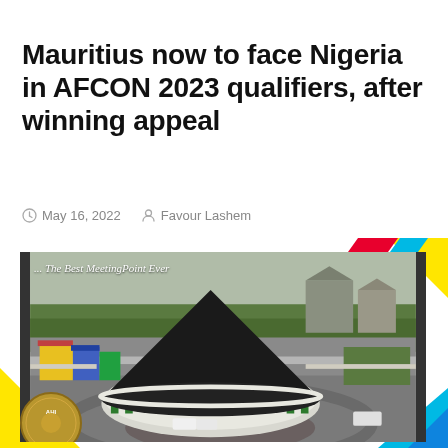Mauritius now to face Nigeria in AFCON 2023 qualifiers, after winning appeal
May 16, 2022   Favour Lashem
[Figure (photo): Aerial photograph of a large circular building with a dark conical roof, surrounded by paved areas and green lawns. Colorful smaller buildings visible to the left. Text overlay reads '... The Best MeetingPoint Ever'. Decorative colored stripes (red, cyan/blue, yellow) appear at the top-right and bottom corners. A circular gold badge appears at the bottom-left corner.]